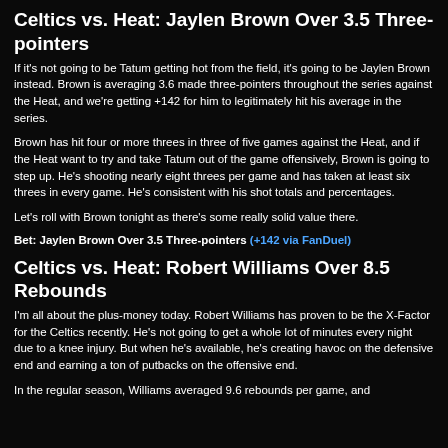Celtics vs. Heat: Jaylen Brown Over 3.5 Three-pointers
If it's not going to be Tatum getting hot from the field, it's going to be Jaylen Brown instead. Brown is averaging 3.6 made three-pointers throughout the series against the Heat, and we're getting +142 for him to legitimately hit his average in the series.
Brown has hit four or more threes in three of five games against the Heat, and if the Heat want to try and take Tatum out of the game offensively, Brown is going to step up. He's shooting nearly eight threes per game and has taken at least six threes in every game. He's consistent with his shot totals and percentages.
Let's roll with Brown tonight as there's some really solid value there.
Bet: Jaylen Brown Over 3.5 Three-pointers (+142 via FanDuel)
Celtics vs. Heat: Robert Williams Over 8.5 Rebounds
I'm all about the plus-money today. Robert Williams has proven to be the X-Factor for the Celtics recently. He's not going to get a whole lot of minutes every night due to a knee injury. But when he's available, he's creating havoc on the defensive end and earning a ton of putbacks on the offensive end.
In the regular season, Williams averaged 9.6 rebounds per game, and